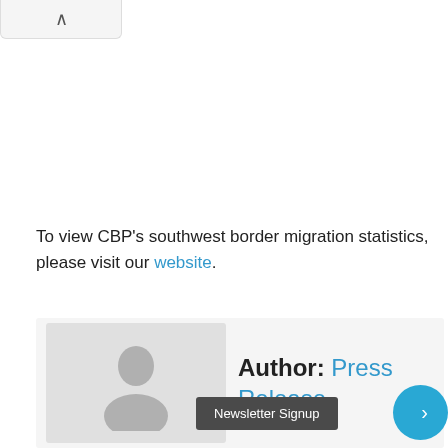[Figure (other): Collapsible top navigation tab with an upward caret arrow on light gray background]
To view CBP's southwest border migration statistics, please visit our website.
[Figure (other): Author card with gray avatar placeholder icon, showing 'Author: Press Release', a Newsletter Signup button, and a circular blue button with arrow]
Author: Press Release
Newsletter Signup